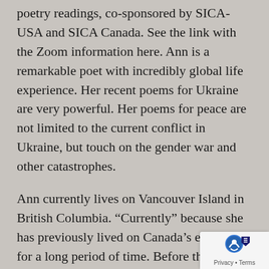poetry readings, co-sponsored by SICA-USA and SICA Canada. See the link with the Zoom information here. Ann is a remarkable poet with incredibly global life experience. Her recent poems for Ukraine are very powerful. Her poems for peace are not limited to the current conflict in Ukraine, but touch on the gender war and other catastrophes.
Ann currently lives on Vancouver Island in British Columbia. “Currently” because she has previously lived on Canada’s east coast for a long period of time. Before that she lived in Poughkeepsie, New York as an undergraduate at Vassar College and then in Davis, California, where she got an MA in European History at the University of California.
Ann also, more recently, has an MFA in creative
[Figure (logo): Privacy & Terms badge with blue circular icon in bottom-right corner]